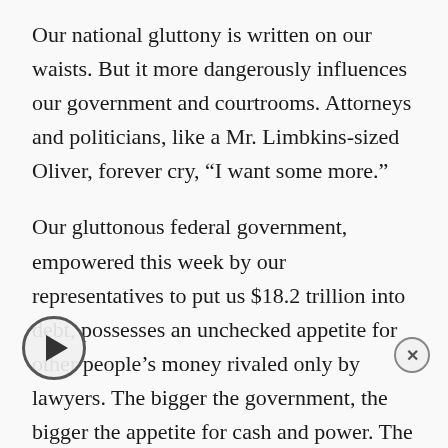Our national gluttony is written on our waists. But it more dangerously influences our government and courtrooms. Attorneys and politicians, like a Mr. Limbkins-sized Oliver, forever cry, “I want some more.”
Our gluttonous federal government, empowered this week by our representatives to put us $18.2 trillion into debt, possesses an unchecked appetite for other people’s money rivaled only by lawyers. The bigger the government, the bigger the appetite for cash and power. The state’s increasing [intrusi]ons into the field of medicine makes litigation against the companies that feed us